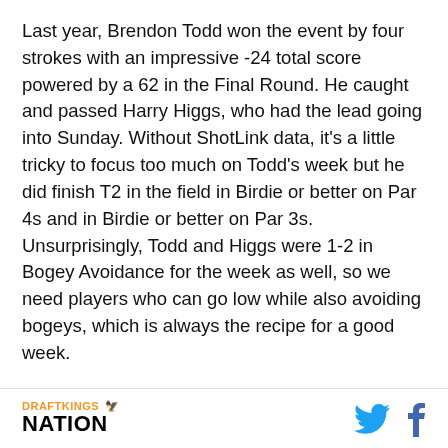Last year, Brendon Todd won the event by four strokes with an impressive -24 total score powered by a 62 in the Final Round. He caught and passed Harry Higgs, who had the lead going into Sunday. Without ShotLink data, it's a little tricky to focus too much on Todd's week but he did finish T2 in the field in Birdie or better on Par 4s and in Birdie or better on Par 3s. Unsurprisingly, Todd and Higgs were 1-2 in Bogey Avoidance for the week as well, so we need players who can go low while also avoiding bogeys, which is always the recipe for a good week.
Specifically, Port Royal has eight par-4s under 415 yards, so we can also target players who excel on
DRAFTKINGS NATION